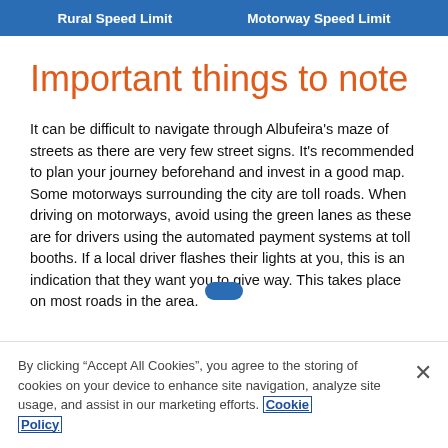Rural Speed Limit    Motorway Speed Limit
Important things to note
It can be difficult to navigate through Albufeira's maze of streets as there are very few street signs. It's recommended to plan your journey beforehand and invest in a good map. Some motorways surrounding the city are toll roads. When driving on motorways, avoid using the green lanes as these are for drivers using the automated payment systems at toll booths. If a local driver flashes their lights at you, this is an indication that they want you to give way. This takes place on most roads in the area.
By clicking “Accept All Cookies”, you agree to the storing of cookies on your device to enhance site navigation, analyze site usage, and assist in our marketing efforts. Cookie Policy